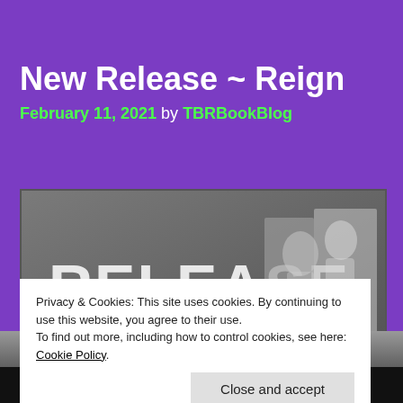[Figure (photo): Grayscale top strip photo showing partial view of objects on a dark textured surface]
New Release ~ Reign
February 11, 2021 by TBRBookBlog
[Figure (photo): Book cover image showing 'RELEASE' text with muscular male figures on a dark stone/concrete background]
Privacy & Cookies: This site uses cookies. By continuing to use this website, you agree to their use.
To find out more, including how to control cookies, see here:
Cookie Policy
[Figure (photo): Bottom strip showing 4 orange star rating icons and partial text reading "I COULDN'T GET ENOUGH"]